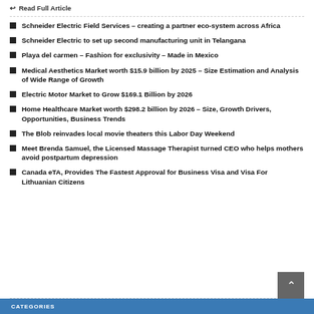Read Full Article
Schneider Electric Field Services – creating a partner eco-system across Africa
Schneider Electric to set up second manufacturing unit in Telangana
Playa del carmen – Fashion for exclusivity – Made in Mexico
Medical Aesthetics Market worth $15.9 billion by 2025 – Size Estimation and Analysis of Wide Range of Growth
Electric Motor Market to Grow $169.1 Billion by 2026
Home Healthcare Market worth $298.2 billion by 2026 – Size, Growth Drivers, Opportunities, Business Trends
The Blob reinvades local movie theaters this Labor Day Weekend
Meet Brenda Samuel, the Licensed Massage Therapist turned CEO who helps mothers avoid postpartum depression
Canada eTA, Provides The Fastest Approval for Business Visa and Visa For Lithuanian Citizens
CATEGORIES